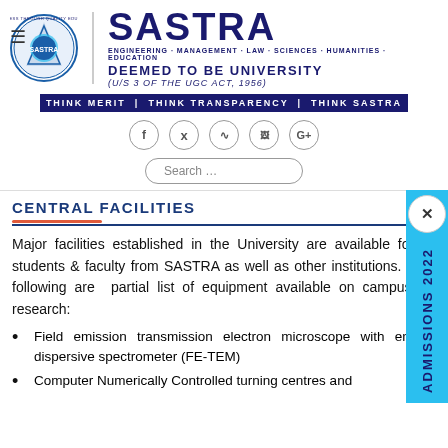[Figure (logo): SASTRA University logo with circular emblem and text: ENGINEERING · MANAGEMENT · LAW · SCIENCES · HUMANITIES · EDUCATION, DEEMED TO BE UNIVERSITY (U/S 3 OF THE UGC ACT, 1956), THINK MERIT | THINK TRANSPARENCY | THINK SASTRA]
[Figure (infographic): Social media icons: f (Facebook), bird (Twitter), RSS, image icon, G+ (Google Plus)]
CENTRAL FACILITIES
Major facilities established in the University are available for all students & faculty from SASTRA as well as other institutions. The following are partial list of equipment available on campus for research:
Field emission transmission electron microscope with energy dispersive spectrometer (FE-TEM)
Computer Numerically Controlled turning centres and